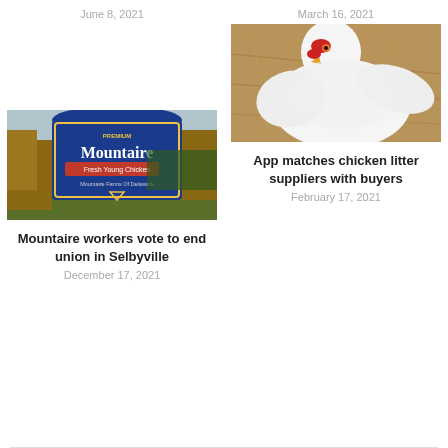June 8, 2021
March 16, 2021
[Figure (photo): White chicken on straw/grain bedding]
App matches chicken litter suppliers with buyers
February 17, 2021
[Figure (photo): Mountaire Farms Fresh Young Chickens blue sign outdoors]
Mountaire workers vote to end union in Selbyville
December 17, 2021